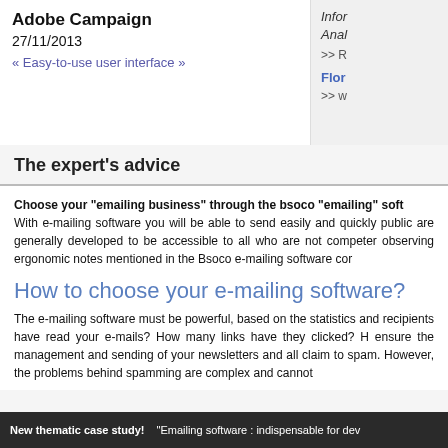Adobe Campaign
27/11/2013
« Easy-to-use user interface »
Infor
Anal
>> R
Flor
>> w
The expert's advice
Choose your "emailing business" through the bsoco "emailing" soft
With e-mailing software you will be able to send easily and quickly public are generally developed to be accessible to all who are not competer observing ergonomic notes mentioned in the Bsoco e-mailing software cor
How to choose your e-mailing software?
The e-mailing software must be powerful, based on the statistics and recipients have read your e-mails? How many links have they clicked? H ensure the management and sending of your newsletters and all claim to spam. However, the problems behind spamming are complex and cannot
New thematic case study!   "Emailing software : indispensable for dev